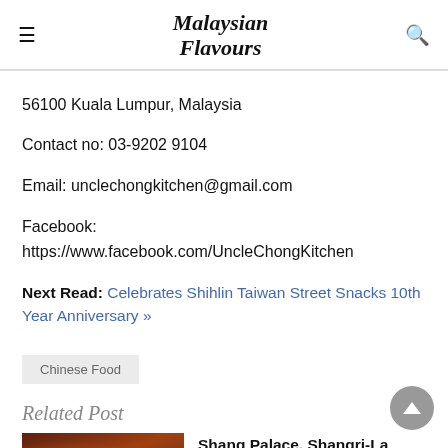Malaysian Flavours
56100 Kuala Lumpur, Malaysia
Contact no: 03-9202 9104
Email: unclechongkitchen@gmail.com
Facebook:
https://www.facebook.com/UncleChongKitchen
Next Read: Celebrates Shihlin Taiwan Street Snacks 10th Year Anniversary »
Chinese Food
Related Post
Shang Palace, Shangri-La Kuala Lumpur – New Chinese Executive...